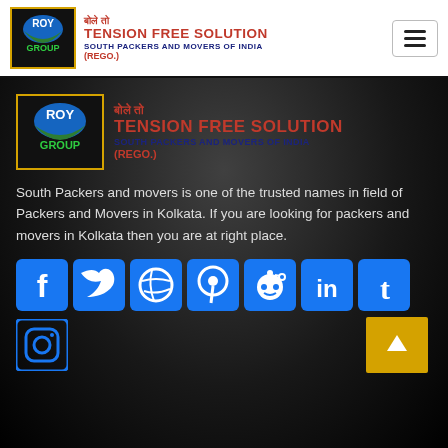बोले तो TENSION FREE SOLUTION SOUTH PACKERS AND MOVERS OF INDIA (REGO.) — Roy Group
[Figure (logo): Roy Group logo with yellow border, dark background, blue/green graphic, ROY in white, GROUP in green text]
[Figure (logo): Roy Group logo repeated larger on dark background — बोले तो, TENSION FREE SOLUTION, SOUTH PACKERS AND MOVERS OF INDIA (REGO.)]
South Packers and movers is one of the trusted names in field of Packers and Movers in Kolkata. If you are looking for packers and movers in Kolkata then you are at right place.
[Figure (infographic): Row of social media icons: Facebook, Twitter, Dribbble, Pinterest, Reddit, LinkedIn, Tumblr — all in blue on dark background]
[Figure (infographic): Instagram icon in blue on dark background; back-to-top arrow button in yellow/gold on right]